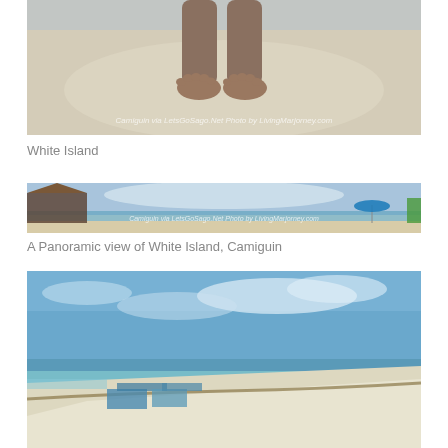[Figure (photo): Overhead view of person's feet standing on white sandy beach with shallow water, watermark reading 'Camiguin via LetsGoSago.Net Photo by LivingMarjorney.com']
White Island
[Figure (photo): Panoramic view of White Island Camiguin beach with blue sky, sea, thatched structures on left and beach umbrellas on right, watermark reading 'Camiguin via LetsGoSago.Net Photo by LivingMarjorney.com']
A Panoramic view of White Island, Camiguin
[Figure (photo): Wide beach view of White Island Camiguin with blue sky, turquoise water, white sand, small shelters visible on the left shore]